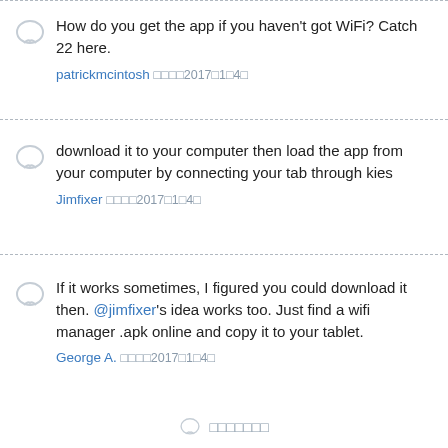How do you get the app if you haven't got WiFi? Catch 22 here.
patrickmcintosh 󰀀󰀀󰀀󰀀2017󰀀1󰀀4󰀀
download it to your computer then load the app from your computer by connecting your tab through kies
Jimfixer 󰀀󰀀󰀀󰀀2017󰀀1󰀀4󰀀
If it works sometimes, I figured you could download it then. @jimfixer's idea works too. Just find a wifi manager .apk online and copy it to your tablet.
George A. 󰀀󰀀󰀀󰀀2017󰀀1󰀀4󰀀
󰀀󰀀󰀀󰀀󰀀󰀀󰀀